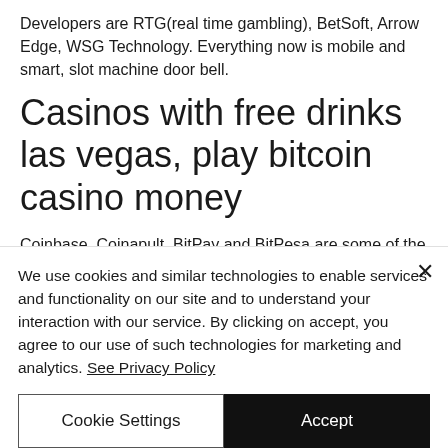Developers are RTG(real time gambling), BetSoft, Arrow Edge, WSG Technology. Everything now is mobile and smart, slot machine door bell.
Casinos with free drinks las vegas, play bitcoin casino money
Coinbase, Coinapult, BitPay and BitPesa are some of the biggest brands identified for accepting bitcoin as payment, bitcoin casino
We use cookies and similar technologies to enable services and functionality on our site and to understand your interaction with our service. By clicking on accept, you agree to our use of such technologies for marketing and analytics. See Privacy Policy